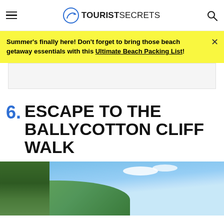TOURIST SECRETS
Summer's finally here! Don't forget to bring those beach getaway essentials with this Ultimate Beach Packing List!
[Figure (photo): Advertisement placeholder block]
6. ESCAPE TO THE BALLYCOTTON CLIFF WALK
[Figure (photo): Outdoor photo of Ballycotton cliff walk showing green grassy cliffs under a blue sky with white clouds]